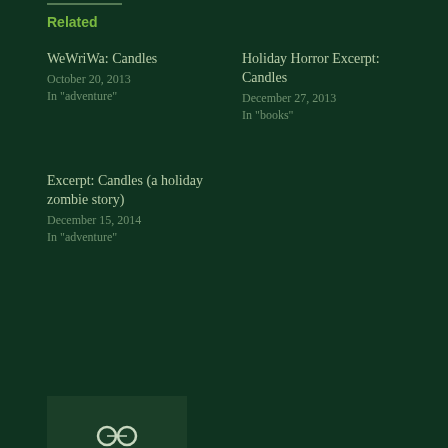Related
WeWriWa: Candles
October 20, 2013
In "adventure"
Holiday Horror Excerpt: Candles
December 27, 2013
In "books"
Excerpt: Candles (a holiday zombie story)
December 15, 2014
In "adventure"
[Figure (illustration): Share icon with two connected circles on dark green background]
Posted in collections, holidays, horror, short stories, Uncategorized
Tagged Advent, Christmas, collections, Holidays, horror, Lost in the Shadows, short stories, zombies